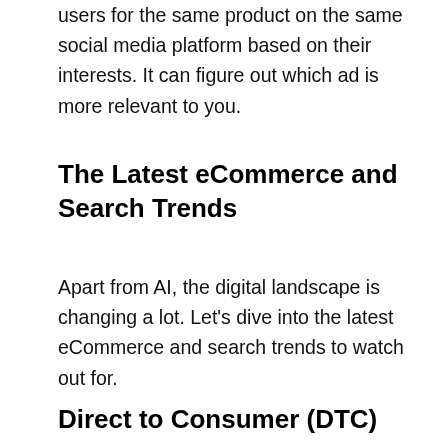users for the same product on the same social media platform based on their interests. It can figure out which ad is more relevant to you.
The Latest eCommerce and Search Trends
Apart from AI, the digital landscape is changing a lot. Let's dive into the latest eCommerce and search trends to watch out for.
Direct to Consumer (DTC)